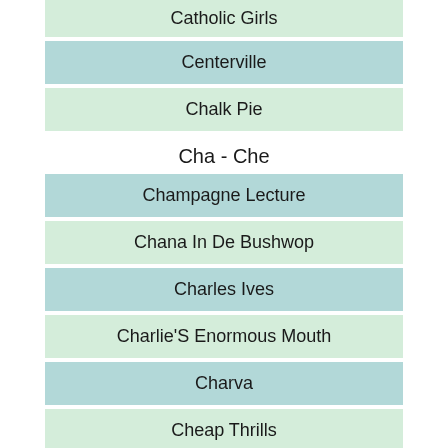Catholic Girls
Centerville
Chalk Pie
Cha - Che
Champagne Lecture
Chana In De Bushwop
Charles Ives
Charlie'S Enormous Mouth
Charva
Cheap Thrills
Ch - Ci